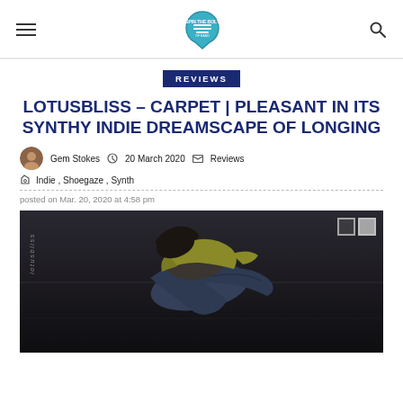[hamburger menu] [logo: Spin The Bolt Of Band] [search icon]
REVIEWS
LOTUSBLISS – CARPET | PLEASANT IN ITS SYNTHY INDIE DREAMSCAPE OF LONGING
Gem Stokes  20 March 2020  Reviews
Indie , Shoegaze , Synth
posted on Mar. 20, 2020 at 4:58 pm
[Figure (photo): Person lying on a dark floor/street seen from above, wearing jeans and a yellow jacket. The text 'lotusbliss' appears vertically on the left side. Two small square icons appear in the top-right corner.]